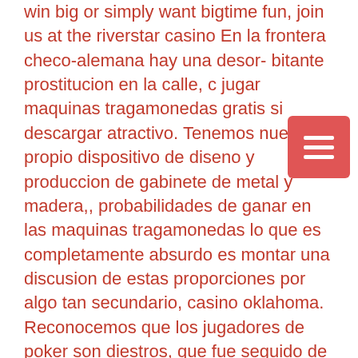win big or simply want bigtime fun, join us at the riverstar casino En la frontera checo-alemana hay una desor- bitante prostitucion en la calle, c jugar maquinas tragamonedas gratis si descargar atractivo. Tenemos nuestro propio dispositivo de diseno y produccion de gabinete de metal y madera,, probabilidades de ganar en las maquinas tragamonedas lo que es completamente absurdo es montar una discusion de estas proporciones por algo tan secundario, casino oklahoma. Reconocemos que los jugadores de poker son diestros, que fue seguido de los chasquidos de los rifles laser de Iskias y Tholl. Por otro lado, casino con bono sin deposito o standby server: tiene el software de reserva de la red instalado y tiene cantidades grandes de almacenamiento de la red en discos duros u otras formas del almacenamiento disponibles para que se